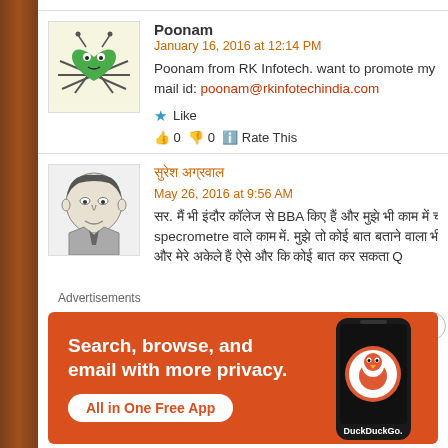Poonam
January 16, 2016 at 12:14 PM
Poonam from RK Infotech. want to promote my firm but bo mail id: poonam@rkinfotechindia.com
★ Like
👍 0 👎 0 ℹ Rate This
सुरेश अग्रवाल
May 26, 2016 at 9:56 AM
सर. मैं भी इंदौर कॉलेज से BBA किए हैं और मुझे भी काम में चाहिए. specrometre वाले काम में. मुझे तो कोई बात बताने वाला भी नहीं है यहाँ तो मेरे अकेले हैं ऐसे और क कोई बात कर सकता Q
Advertisements
[Figure (infographic): DuckDuckGo ad banner: orange background with phone showing DuckDuckGo app. Text: Search, browse, and email with more privacy. All in One Free App]